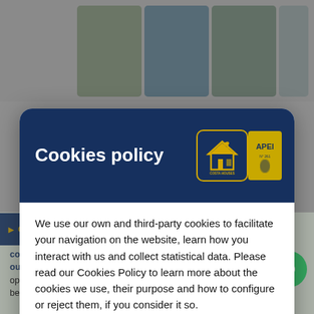[Figure (screenshot): Background page showing property images at top, with partial body text about main floor concept, living-dining room, terrace, pool, and bedrooms at bottom]
Cookies policy
We use our own and third-party cookies to facilitate your navigation on the website, learn how you interact with us and collect statistical data. Please read our Cookies Policy to learn more about the cookies we use, their purpose and how to configure or reject them, if you consider it so.
Manage Cookies
Accept all